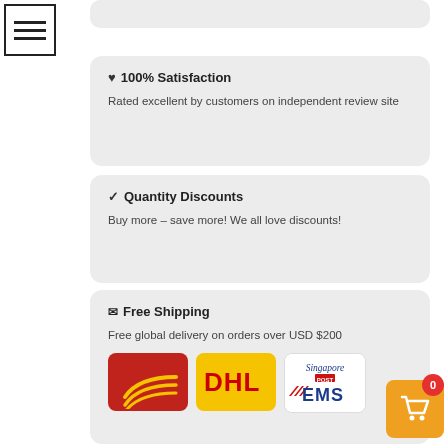[Figure (logo): Menu/hamburger icon — square border with three horizontal bars]
[Figure (illustration): Top grey rounded card (partial, cropped at top)]
♥ 100% Satisfaction
Rated excellent by customers on independent review site
✔ Quantity Discounts
Buy more – save more! We all love discounts!
✉ Free Shipping
Free global delivery on orders over USD $200
[Figure (logo): India Post logo — red background with yellow wing checkmark]
[Figure (logo): DHL logo — yellow background with red DHL text]
[Figure (logo): Singapore Post EMS logo — white background with blue Singapore Post EMS text and red stripes]